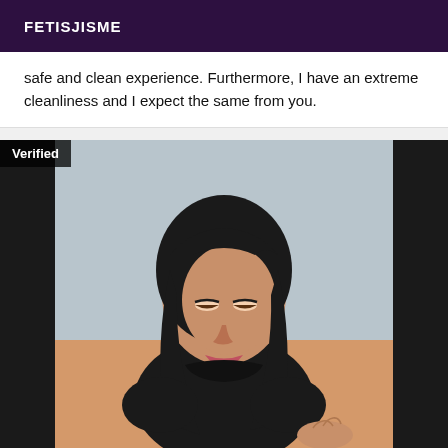FETISJISME
safe and clean experience. Furthermore, I have an extreme cleanliness and I expect the same from you.
[Figure (photo): A young woman with long dark hair and bangs, wearing a black sleeveless top, looking downward. She appears to be seated on a peach/salmon colored surface. The background is light blue/grey. A 'Verified' badge appears in the top-left corner of the image.]